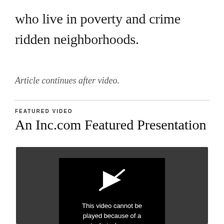who live in poverty and crime ridden neighborhoods.
Article continues after video.
FEATURED VIDEO
An Inc.com Featured Presentation
[Figure (screenshot): Video player showing error message: This video cannot be played because of a technical error. (Error Code: 200001)]